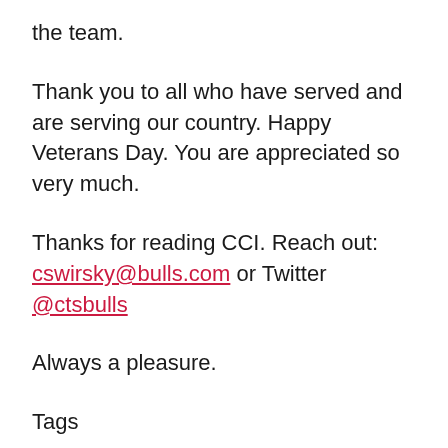the team.
Thank you to all who have served and are serving our country. Happy Veterans Day. You are appreciated so very much.
Thanks for reading CCI. Reach out: cswirsky@bulls.com or Twitter @ctsbulls
Always a pleasure.
Tags